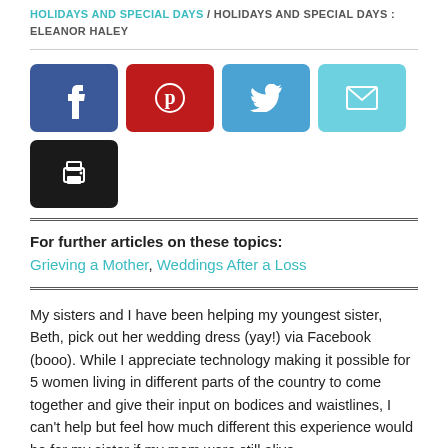HOLIDAYS AND SPECIAL DAYS / HOLIDAYS AND SPECIAL DAYS : ELEANOR HALEY
[Figure (infographic): Social sharing buttons: Facebook (blue), Pinterest (red), Twitter (light blue), Email (cyan), Print (black)]
For further articles on these topics:
Grieving a Mother, Weddings After a Loss
My sisters and I have been helping my youngest sister, Beth, pick out her wedding dress (yay!) via Facebook (booo). While I appreciate technology making it possible for 5 women living in different parts of the country to come together and give their input on bodices and waistlines, I can't help but feel how much different this experience would be for my sister if my mom were still alive.
My mother died shortly after my husband and I were married, so